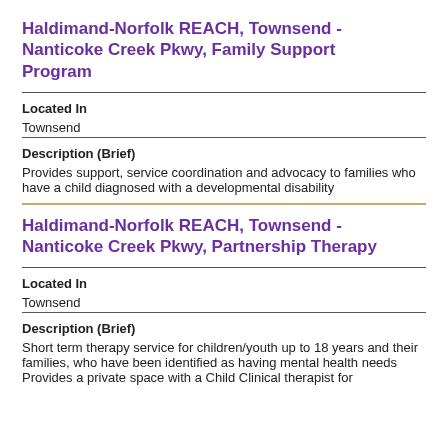Haldimand-Norfolk REACH, Townsend - Nanticoke Creek Pkwy, Family Support Program
Located In
Townsend
Description (Brief)
Provides support, service coordination and advocacy to families who have a child diagnosed with a developmental disability
Haldimand-Norfolk REACH, Townsend - Nanticoke Creek Pkwy, Partnership Therapy
Located In
Townsend
Description (Brief)
Short term therapy service for children/youth up to 18 years and their families, who have been identified as having mental health needs Provides a private space with a Child Clinical therapist for